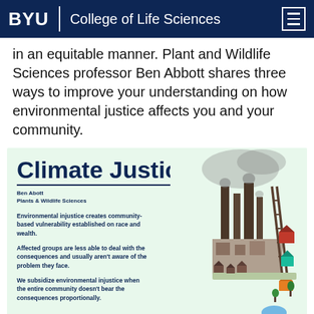BYU | College of Life Sciences
in an equitable manner. Plant and Wildlife Sciences professor Ben Abbott shares three ways to improve your understanding on how environmental justice affects you and your community.
[Figure (infographic): Climate Justice infographic with light green background. Title reads 'Climate Justice'. Author: Ben Abbott, Plants & Wildlife Sciences. Three bullet points about environmental injustice. Right side shows an illustrated scene of an industrial/urban landscape with smokestacks and houses.]